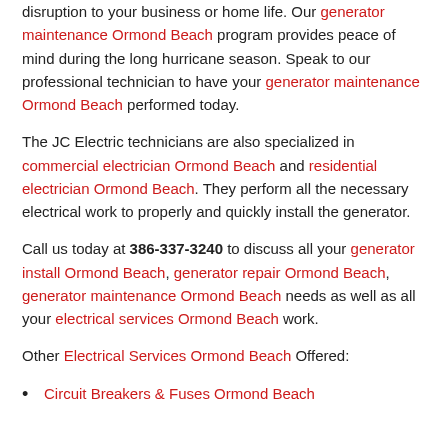disruption to your business or home life. Our generator maintenance Ormond Beach program provides peace of mind during the long hurricane season. Speak to our professional technician to have your generator maintenance Ormond Beach performed today.
The JC Electric technicians are also specialized in commercial electrician Ormond Beach and residential electrician Ormond Beach. They perform all the necessary electrical work to properly and quickly install the generator.
Call us today at 386-337-3240 to discuss all your generator install Ormond Beach, generator repair Ormond Beach, generator maintenance Ormond Beach needs as well as all your electrical services Ormond Beach work.
Other Electrical Services Ormond Beach Offered:
Circuit Breakers & Fuses Ormond Beach